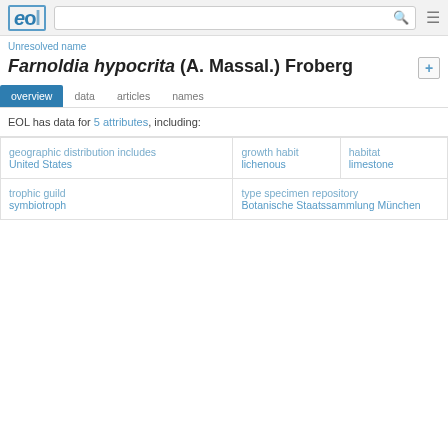EOL | search | menu
Unresolved name
Farnoldia hypocrita (A. Massal.) Froberg
overview  data  articles  names
EOL has data for 5 attributes, including:
| geographic distribution includes
United States | growth habit
lichenous | habitat
limestone |
| trophic guild
symbiotroph | type specimen repository
Botanische Staatssammlung München |  |